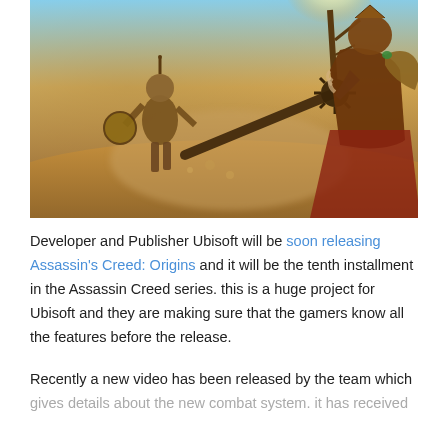[Figure (photo): Screenshot from Assassin's Creed: Origins video game showing two warriors in combat in a desert setting. One warrior in Egyptian-style armor wielding a large spiked mallet/weapon against another warrior. Sandy, dusty environment with warm golden lighting.]
Developer and Publisher Ubisoft will be soon releasing Assassin's Creed: Origins and it will be the tenth installment in the Assassin Creed series. this is a huge project for Ubisoft and they are making sure that the gamers know all the features before the release.
Recently a new video has been released by the team which gives details about the new combat system. it has received